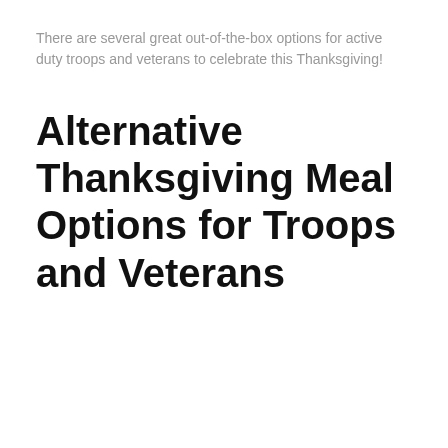There are several great out-of-the-box options for active duty troops and veterans to celebrate this Thanksgiving!
Alternative Thanksgiving Meal Options for Troops and Veterans